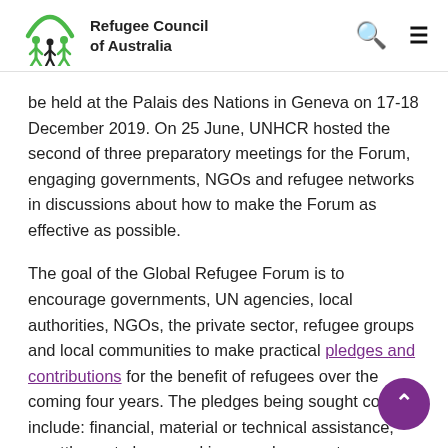Refugee Council of Australia
be held at the Palais des Nations in Geneva on 17-18 December 2019. On 25 June, UNHCR hosted the second of three preparatory meetings for the Forum, engaging governments, NGOs and refugee networks in discussions about how to make the Forum as effective as possible.
The goal of the Global Refugee Forum is to encourage governments, UN agencies, local authorities, NGOs, the private sector, refugee groups and local communities to make practical pledges and contributions for the benefit of refugees over the coming four years. The pledges being sought could include: financial, material or technical assistance; resettlement places and improved access to complementary migration pathways; and policy